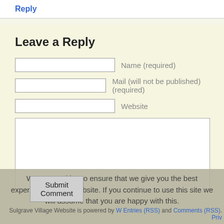Reply
Leave a Reply
Name (required)
Mail (will not be published) (required)
Website
We use cookies to ensure that we give you the best experience on our website. If you continue to use this site we will assume that you are happy with this.
Submit Comment
Sulgrave Village Website is powered by W... Entries (RSS) and Comments (RSS). Priv...